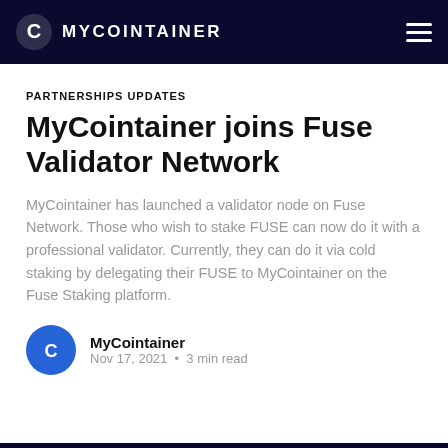MYCOINTAINER
PARTNERSHIPS UPDATES
MyCointainer joins Fuse Validator Network
MyCointainer has launched a validator node on Fuse Network. Those who wish to stake FUSE can now do it with a professional validator. Currently, they can do it via cold staking by delegating their FUSE to MyCointainer on the Fuse Staking platform.
MyCointainer
Nov 17, 2021 • 3 min read